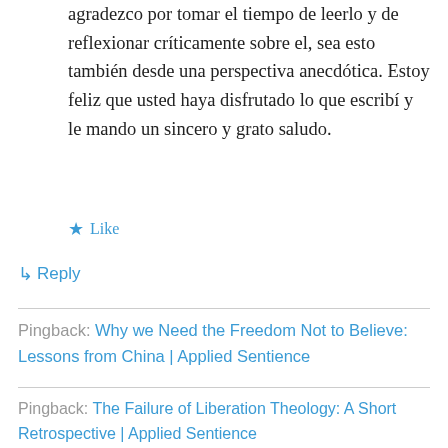agradezco por tomar el tiempo de leerlo y de reflexionar críticamente sobre el, sea esto también desde una perspectiva anecdótica. Estoy feliz que usted haya disfrutado lo que escribí y le mando un sincero y grato saludo.
★ Like
↳ Reply
Pingback: Why we Need the Freedom Not to Believe: Lessons from China | Applied Sentience
Pingback: The Failure of Liberation Theology: A Short Retrospective | Applied Sentience
Pingback: The Contradiction of Awe | Applied Sentience